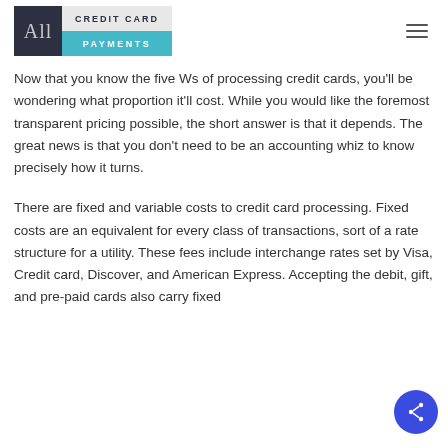All Credit Card Payments
Now that you know the five Ws of processing credit cards, you'll be wondering what proportion it'll cost. While you would like the foremost transparent pricing possible, the short answer is that it depends. The great news is that you don't need to be an accounting whiz to know precisely how it turns.
There are fixed and variable costs to credit card processing. Fixed costs are an equivalent for every class of transactions, sort of a rate structure for a utility. These fees include interchange rates set by Visa, Credit card, Discover, and American Express. Accepting the debit, gift, and pre-paid cards also carry fixed